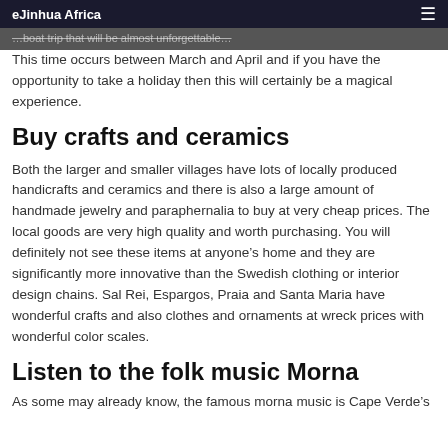eJinhua Africa
…boat trip that will be almost unforgettable…
This time occurs between March and April and if you have the opportunity to take a holiday then this will certainly be a magical experience.
Buy crafts and ceramics
Both the larger and smaller villages have lots of locally produced handicrafts and ceramics and there is also a large amount of handmade jewelry and paraphernalia to buy at very cheap prices. The local goods are very high quality and worth purchasing. You will definitely not see these items at anyone's home and they are significantly more innovative than the Swedish clothing or interior design chains. Sal Rei, Espargos, Praia and Santa Maria have wonderful crafts and also clothes and ornaments at wreck prices with wonderful color scales.
Listen to the folk music Morna
As some may already know, the famous morna music is Cape Verde's